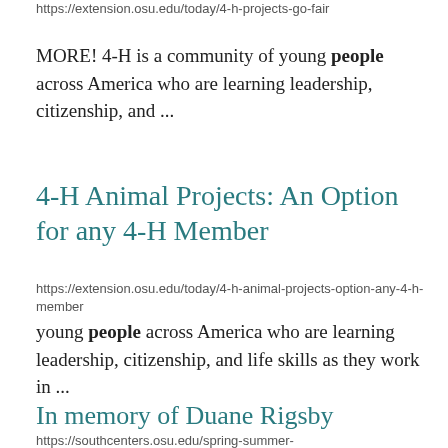https://extension.osu.edu/today/4-h-projects-go-fair
MORE! 4-H is a community of young people across America who are learning leadership, citizenship, and ...
4-H Animal Projects: An Option for any 4-H Member
https://extension.osu.edu/today/4-h-animal-projects-option-any-4-h-member
young people across America who are learning leadership, citizenship, and life skills as they work in ...
In memory of Duane Rigsby
https://southcenters.osu.edu/spring-summer-